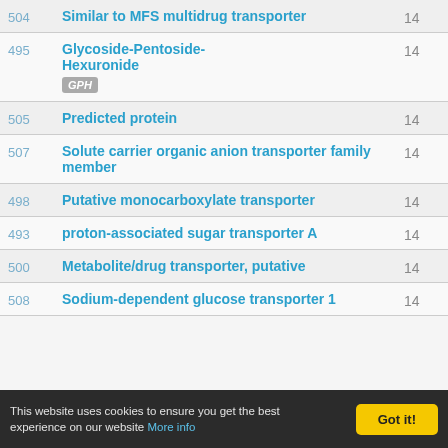| ID | Name | Count |
| --- | --- | --- |
| 504 | Similar to MFS multidrug transporter | 14 |
| 495 | Glycoside-Pentoside-Hexuronide [GPH] | 14 |
| 505 | Predicted protein | 14 |
| 507 | Solute carrier organic anion transporter family member | 14 |
| 498 | Putative monocarboxylate transporter | 14 |
| 493 | proton-associated sugar transporter A | 14 |
| 500 | Metabolite/drug transporter, putative | 14 |
| 508 | Sodium-dependent glucose transporter 1 | 14 |
This website uses cookies to ensure you get the best experience on our website More info